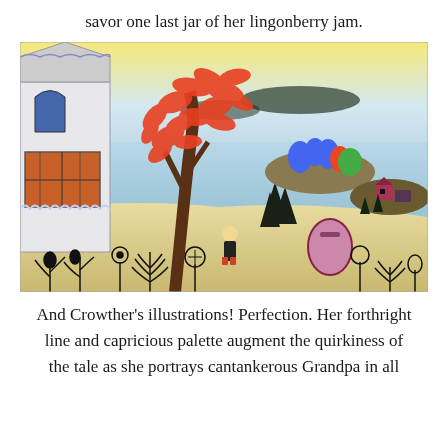savor one last jar of her lingonberry jam.
[Figure (illustration): A colorful pencil/crayon illustration showing a Scandinavian-style coastal scene. A white house with an arched window is on the left. A large tree with vivid red/orange leaves dominates the center-left. A small figure (child or woman) kneels in the foreground near black botanical drawings of flowers and plants. In the background are islands with colorful trees, a body of water, and a pinkish-purple wheeled cart or lantern on the shore. The sky has a yellow-orange glow at the horizon.]
And Crowther's illustrations! Perfection. Her forthright line and capricious palette augment the quirkiness of the tale as she portrays cantankerous Grandpa in all